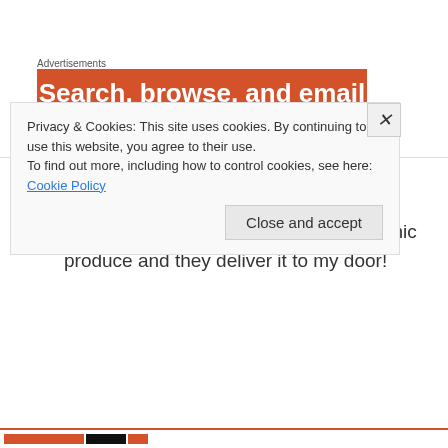Advertisements
[Figure (illustration): Orange advertisement banner with white bold text reading 'Search, browse, and email' and partial second line cut off]
Alecia fradelos on March 5, 2014 at 4:10 pm
I love bunbury whole foods. Fresh organic produce and they deliver it to my door!
Privacy & Cookies: This site uses cookies. By continuing to use this website, you agree to their use.
To find out more, including how to control cookies, see here: Cookie Policy
Close and accept